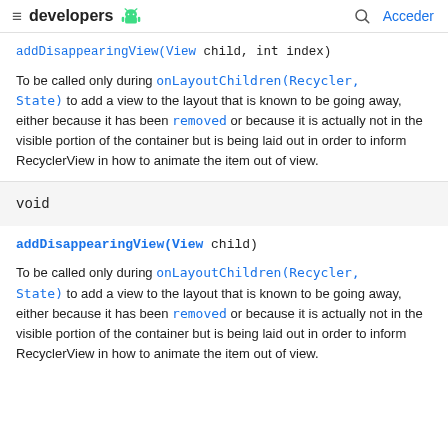≡ developers [android] Acceder
addDisappearingView(View child, int index)
To be called only during onLayoutChildren(Recycler, State) to add a view to the layout that is known to be going away, either because it has been removed or because it is actually not in the visible portion of the container but is being laid out in order to inform RecyclerView in how to animate the item out of view.
void
addDisappearingView(View child)
To be called only during onLayoutChildren(Recycler, State) to add a view to the layout that is known to be going away, either because it has been removed or because it is actually not in the visible portion of the container but is being laid out in order to inform RecyclerView in how to animate the item out of view.